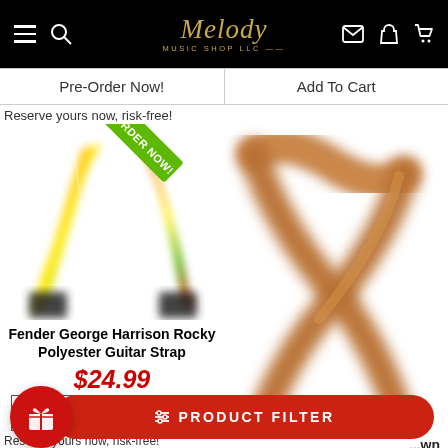Melody Music Shop LLC
Pre-Order Now! | Add To Cart
Reserve yours now, risk-free!
[Figure (photo): Fender George Harrison Rocky Polyester Guitar Strap - colorful red, orange, yellow rainbow pattern, with PRE-ORDER NOW badge]
Fender George Harrison Rocky Polyester Guitar Strap
$24.99
Pre-Order Now!
Reserve yours now, risk-free!
[Figure (photo): Brown leather guitar strap crossed over itself]
...wn
...ap,
Suede Back, 2.5"
PRODUCT FILTER